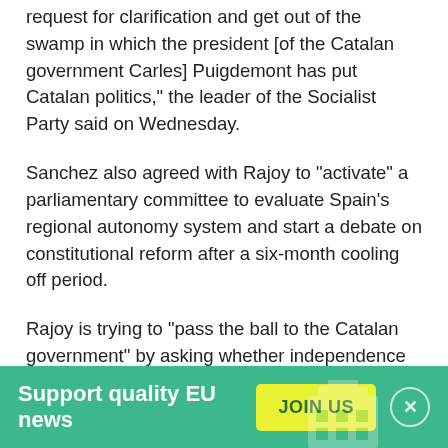request for clarification and get out of the swamp in which the president [of the Catalan government Carles] Puigdemont has put Catalan politics," the leader of the Socialist Party said on Wednesday.
Sanchez also agreed with Rajoy to "activate" a parliamentary committee to evaluate Spain's regional autonomy system and start a debate on constitutional reform after a six-month cooling off period.
Rajoy is trying to "pass the ball to the Catalan government" by asking whether independence was really declared, said Jaume Lopez, a professor of political science at Barcelona's Pompeu Fabre University.
[Figure (infographic): Green banner with white bold text 'Support quality EU news', a yellow-green 'JOIN US' button, a close (X) circle button, and a faint building/institution icon in the background.]